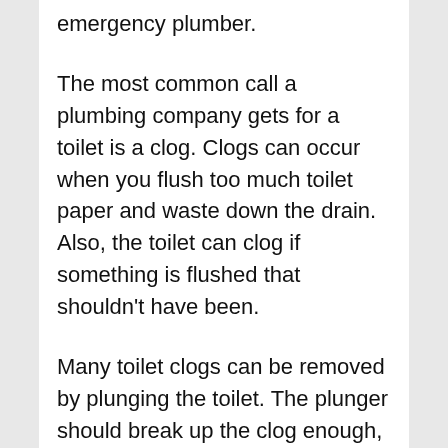emergency plumber.
The most common call a plumbing company gets for a toilet is a clog. Clogs can occur when you flush too much toilet paper and waste down the drain. Also, the toilet can clog if something is flushed that shouldn't have been.
Many toilet clogs can be removed by plunging the toilet. The plunger should break up the clog enough, allowing the clog to pass through the drainpipe. Large clogs